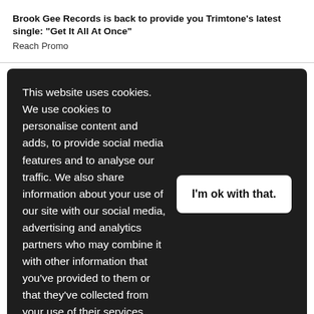Brook Gee Records is back to provide you Trimtone's latest single: "Get It All At Once"
Reach Promo
This website uses cookies. We use cookies to personalise content and adds, to provide social media features and to analyse our traffic. We also share information about your use of our site with our social media, advertising and analytics partners who may combine it with other information that you've provided to them or that they've collected from your use of their services. Learn more